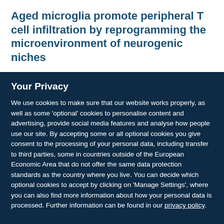Aged microglia promote peripheral T cell infiltration by reprogramming the microenvironment of neurogenic niches
Your Privacy
We use cookies to make sure that our website works properly, as well as some 'optional' cookies to personalise content and advertising, provide social media features and analyse how people use our site. By accepting some or all optional cookies you give consent to the processing of your personal data, including transfer to third parties, some in countries outside of the European Economic Area that do not offer the same data protection standards as the country where you live. You can decide which optional cookies to accept by clicking on 'Manage Settings', where you can also find more information about how your personal data is processed. Further information can be found in our privacy policy.
Accept all cookies
Manage preferences